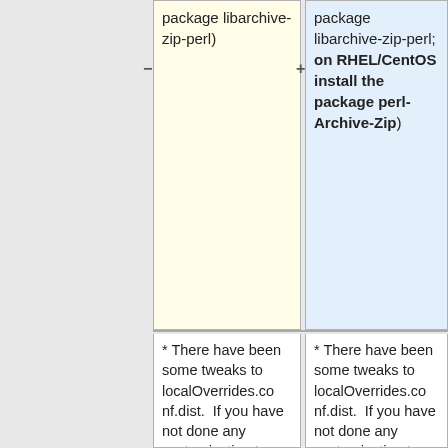package libarchive-zip-perl)
package libarchive-zip-perl; on RHEL/CentOS install the package perl-Archive-Zip)
* There have been some tweaks to localOverrides.conf.dist.  If you have not done any customization to localOverrides.conf then you should consider replacing it with a new copy of localOverrides.conf.dist.  If you have made
* There have been some tweaks to localOverrides.conf.dist.  If you have not done any customization to localOverrides.conf then you should consider replacing it with a new copy of localOverrides.conf.dist.  If you have made